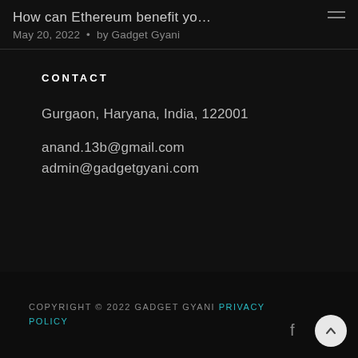How can Ethereum benefit yo… May 20, 2022 • by Gadget Gyani
CONTACT
Gurgaon, Haryana, India, 122001
anand.13b@gmail.com
admin@gadgetgyani.com
COPYRIGHT © 2022 GADGET GYANI Privacy Policy